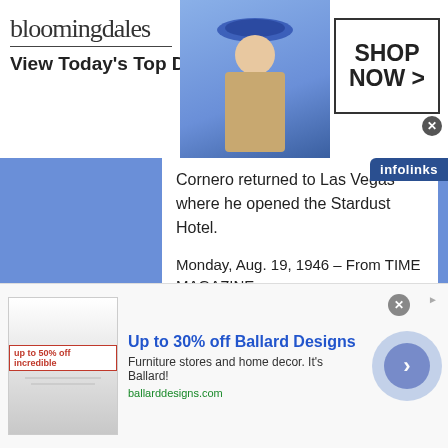[Figure (screenshot): Bloomingdale's advertisement banner: logo text 'bloomingdales', tagline 'View Today's Top Deals!', model photo, 'SHOP NOW >' button]
Cornero returned to Las Vegas where he opened the Stardust Hotel.
Monday, Aug. 19, 1946 – From TIME MAGAZINE
CALIFORNIA: Misunderstood Man
[Figure (screenshot): Bottom advertisement for Ballard Designs: 'Up to 30% off Ballard Designs', 'Furniture stores and home decor. It's Ballard!', ballarddesigns.com]